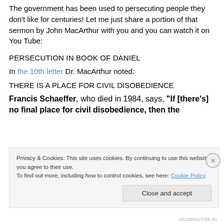The government has been used to persecuting people they don't like for centuries! Let me just share a portion of that sermon by John MacArthur with you and you can watch it on You Tube:
PERSECUTION IN BOOK OF DANIEL
In the 10th letter Dr. MacArthur noted:
THERE IS A PLACE FOR CIVIL DISOBEDIENCE
Francis Schaeffer, who died in 1984, says, "If [there's] no final place for civil disobedience, then the
Privacy & Cookies: This site uses cookies. By continuing to use this website, you agree to their use.
To find out more, including how to control cookies, see here: Cookie Policy
Close and accept
HUSBINGTSS.40